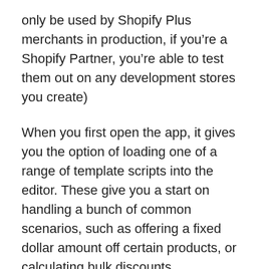only be used by Shopify Plus merchants in production, if you’re a Shopify Partner, you’re able to test them out on any development stores you create)
When you first open the app, it gives you the option of loading one of a range of template scripts into the editor. These give you a start on handling a bunch of common scenarios, such as offering a fixed dollar amount off certain products, or calculating bulk discounts.
As an example, here’s the demo “percentage off for a specific product” script: